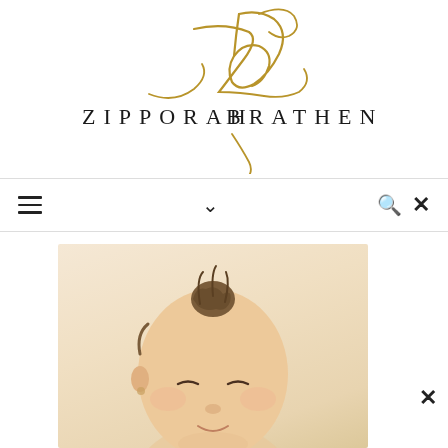[Figure (logo): Zipporah Brathen brand logo with stylized 'zb' monogram in gold script and 'ZIPPORAH BRATHEN' in spaced serif capitals]
[Figure (other): Navigation bar with hamburger menu icon on the left, chevron/dropdown arrow in the center, and search plus close (x) icons on the right]
[Figure (photo): Partial photo of a baby or young child with curly hair tied up in a bun, warm cream/beige background, with a white close button overlay in the lower right corner]